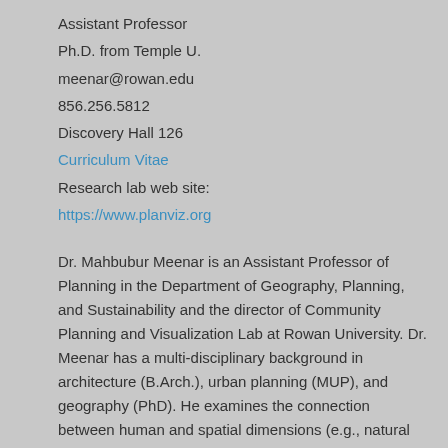Assistant Professor
Ph.D. from Temple U.
meenar@rowan.edu
856.256.5812
Discovery Hall 126
Curriculum Vitae
Research lab web site:
https://www.planviz.org
Dr. Mahbubur Meenar is an Assistant Professor of Planning in the Department of Geography, Planning, and Sustainability and the director of Community Planning and Visualization Lab at Rowan University. Dr. Meenar has a multi-disciplinary background in architecture (B.Arch.), urban planning (MUP), and geography (PhD). He examines the connection between human and spatial dimensions (e.g., natural and built environments) in developing plans for sustainable and resilient communities, focusing on the nexus of land, water, and food. His specific research interests include built environment, green infrastructure, food systems...